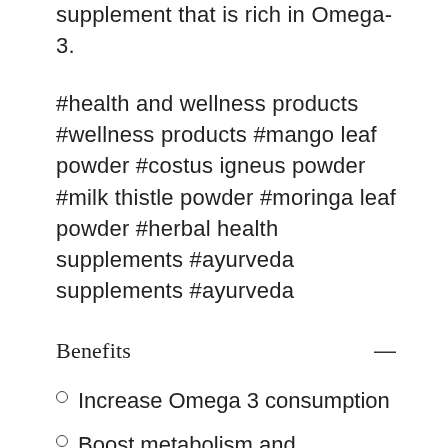supplement that is rich in Omega-3.
#health and wellness products #wellness products #mango leaf powder #costus igneus powder #milk thistle powder #moringa leaf powder #herbal health supplements #ayurveda supplements #ayurveda
Benefits
Increase Omega 3 consumption
Boost metabolism and